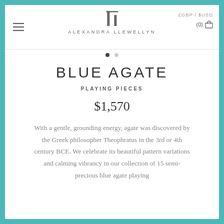£GBP / $USD  (0)  ALEXANDRA LLEWELLYN
BLUE AGATE
PLAYING PIECES
$1,570
With a gentle, grounding energy, agate was discovered by the Greek philosopher Theophratus in the 3rd or 4th century BCE. We celebrate its beautiful pattern variations and calming vibrancy in our collection of 15 semi-precious blue agate playing